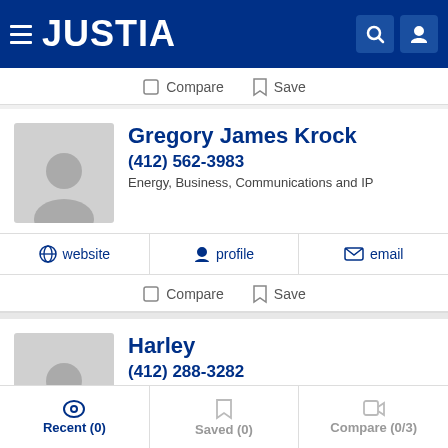JUSTIA
Compare  Save
Gregory James Krock
(412) 562-3983
Energy, Business, Communications and IP
website  profile  email
Compare  Save
Harley
(412) 288-3282
Energy and Environmental
Recent (0)  Saved (0)  Compare (0/3)